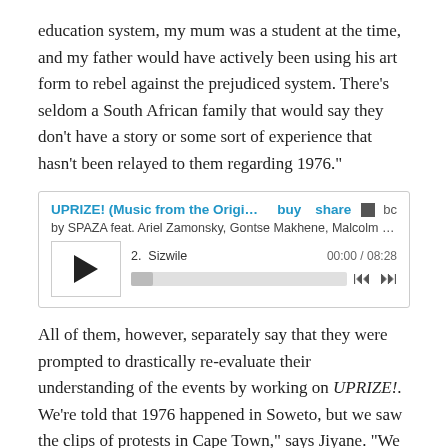education system, my mum was a student at the time, and my father would have actively been using his art form to rebel against the prejudiced system. There’s seldom a South African family that would say they don’t have a story or some sort of experience that hasn’t been relayed to them regarding 1976.”
[Figure (screenshot): Embedded Bandcamp music player showing UPRIZE! (Music from the Origin... by SPAZA feat. Ariel Zamonsky, Gontse Makhene, Malcolm ... Track 2: Sizwile, time 00:00 / 08:28]
All of them, however, separately say that they were prompted to drastically re-evaluate their understanding of the events by working on UPRIZE!. We’re told that 1976 happened in Soweto, but we saw the clips of protests in Cape Town,” says Jiyane. “We realised that this wasn’t just in one province, it was all over the country. The famous June 16 memorial space is in Soweto, but [the movement]